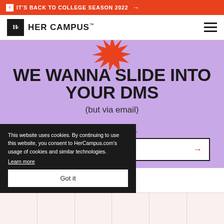IT'S BACK TO COLLEGE SEASON 2022 →
HER CAMPUS
WE WANNA SLIDE INTO YOUR DMS
(but via email)
n't leave unread.
[Figure (illustration): Orange starburst/sunburst decorative graphic at top of purple hero section]
This website uses cookies. By continuing to use this website, you consent to HerCampus.com's usage of cookies and similar technologies. Learn more
Got it